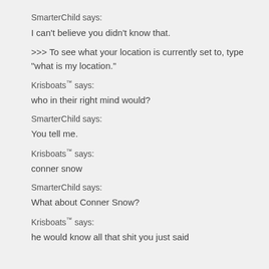SmarterChild says:
I can't believe you didn't know that.
>>> To see what your location is currently set to, type "what is my location."
Krisboats™ says:
who in their right mind would?
SmarterChild says:
You tell me.
Krisboats™ says:
conner snow
SmarterChild says:
What about Conner Snow?
Krisboats™ says:
he would know all that shit you just said